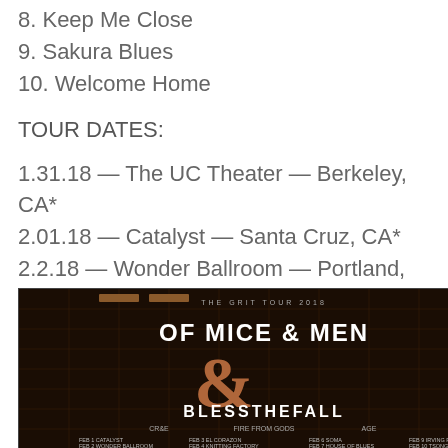8. Keep Me Close
9. Sakura Blues
10. Welcome Home
TOUR DATES:
1.31.18 — The UC Theater — Berkeley, CA*
2.01.18 — Catalyst — Santa Cruz, CA*
2.2.18 — Wonder Ballroom — Portland, OR*
[Figure (photo): Concert tour poster for Of Mice & Men and Blessthefall, The Grit Tour 2018, dark background with circuit-board style artwork and large ampersand symbol, listing tour dates]